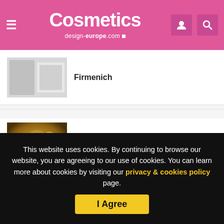Cosmetics design-europe.com
Firmenich
The French touch? France's top 10 best-selling perfumes reflect love of 'classic' luxury
Show more
This website uses cookies. By continuing to browse our website, you are agreeing to our use of cookies. You can learn more about cookies by visiting our privacy & cookies policy page.
I Agree